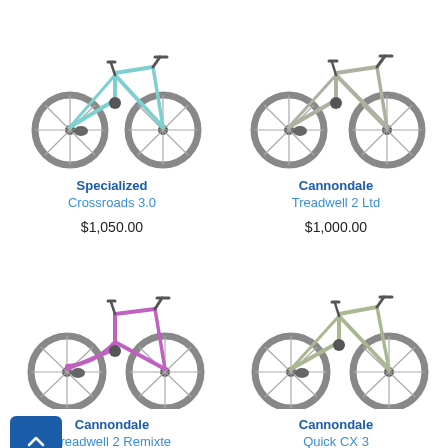[Figure (photo): Specialized Crossroads 3.0 bicycle in light blue/teal color, top portion visible]
[Figure (photo): Cannondale Treadwell 2 Ltd bicycle in grey/silver color, top portion visible]
Specialized
Crossroads 3.0
$1,050.00
Cannondale
Treadwell 2 Ltd
$1,000.00
[Figure (photo): Cannondale Treadwell 2 Remixte Ltd bicycle in purple/silver color, full side view]
[Figure (photo): Cannondale Quick CX 3 bicycle in sage green color, full side view]
Cannondale
Treadwell 2 Remixte Ltd
$1,000.00
Cannondale
Quick CX 3
$910.00